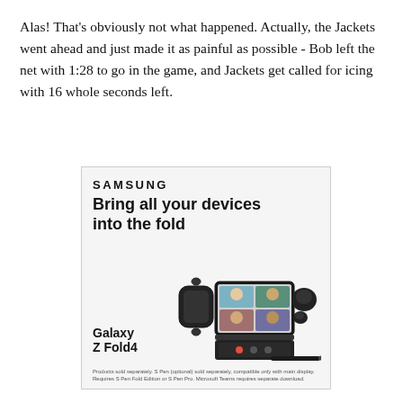Alas! That's obviously not what happened. Actually, the Jackets went ahead and just made it as painful as possible - Bob left the net with 1:28 to go in the game, and Jackets get called for icing with 16 whole seconds left.
[Figure (illustration): Samsung advertisement for Galaxy Z Fold4. Header reads 'SAMSUNG', tagline 'Bring all your devices into the fold', a 'LEARN MORE' button, product images of Galaxy Z Fold4 (smartwatch, foldable phone showing video call, earbuds, and stylus pen). Footnote: 'Products sold separately. S Pen (optional) sold separately, compatible only with main display. Requires S Pen Fold Edition or S Pen Pro. Microsoft Teams requires separate download.']